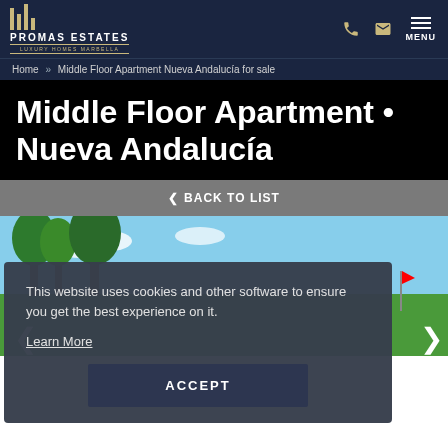PROMAS ESTATES — LUXURY HOMES MARBELLA
Home » Middle Floor Apartment Nueva Andalucía for sale
Middle Floor Apartment • Nueva Andalucía
< BACK TO LIST
[Figure (photo): Outdoor photo with trees and blue sky - partially visible behind cookie consent overlay]
This website uses cookies and other software to ensure you get the best experience on it. Learn More ACCEPT